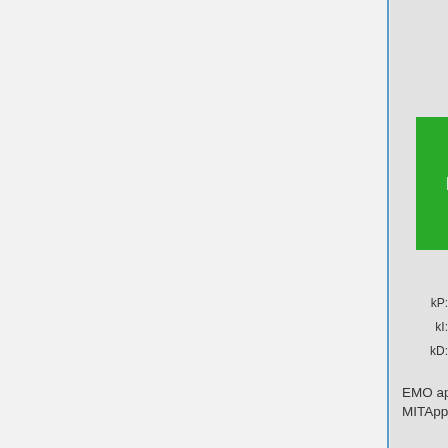[Figure (screenshot): EMO app screenshot showing FORCE MQTT RECONNECT button (blue), Car Status: OFFLINE, MQTT Status: OFFLINE, ENABLE button (green), EMERGENCY STOP button (red), and Settings sliders for kP=0.7, kI=0, kD=0.17]
EMO app made with MITAppInventor and MQTT
The App was designed using MIT AppInventor. TODO Project Link. It uses MQTT to communicate with both the Jetson and Mjölnir (The ESP32). The buttons and sliders behave as follows:
Force MQTT Reconnect: Forces the MQTT client on the phone to connect to the MQTT broker at the specified domain